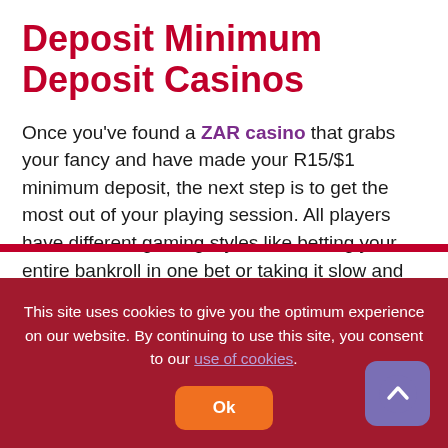Deposit Minimum Deposit Casinos
Once you've found a ZAR casino that grabs your fancy and have made your R15/$1 minimum deposit, the next step is to get the most out of your playing session. All players have different gaming styles like betting your entire bankroll in one bet or taking it slow and easy for an extended gaming session. Be strategic about the games you decide to play. For low budget gambling at a ZAR15 minimum deposit casino, your option includes:
Slots: Slots offer the best...
This site uses cookies to give you the optimum experience on our website. By continuing to use this site, you consent to our use of cookies.